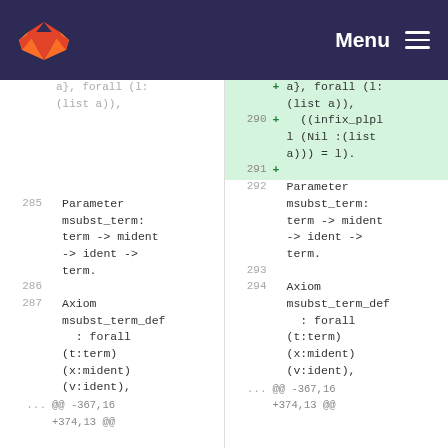GitLab — Menu
[Figure (screenshot): Code diff view showing two panes. Left pane: line 285: 'Parameter msubst_term: term -> mident -> ident -> term.', line 286 empty, line 287: 'Axiom msubst_term_def : forall (t:term) (x:mident) (v:ident),', then '... @@ -367,16 +374,13 @@'. Right pane: lines 290-291 added (green background) with '((infix_plpl l (Nil :(list a))) = l).' and empty, line 292: 'Parameter msubst_term: term -> mident -> ident -> term.', line 293 empty, line 294: 'Axiom msubst_term_def : forall (t:term) (x:mident) (v:ident),', then '... @@ -367,16 +374,13 @@']